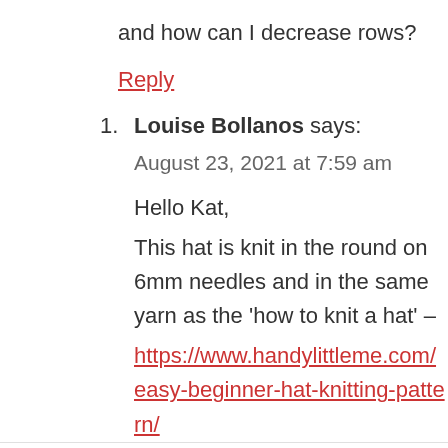and how can I decrease rows?
Reply
1. Louise Bollanos says: August 23, 2021 at 7:59 am

Hello Kat,
This hat is knit in the round on 6mm needles and in the same yarn as the 'how to knit a hat' –
https://www.handylittleme.com/easy-beginner-hat-knitting-pattern/
You could alter it slightly by working